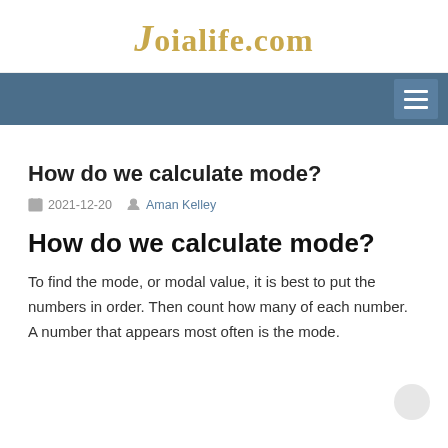Joialife.com
How do we calculate mode?
2021-12-20   Aman Kelley
How do we calculate mode?
To find the mode, or modal value, it is best to put the numbers in order. Then count how many of each number. A number that appears most often is the mode.